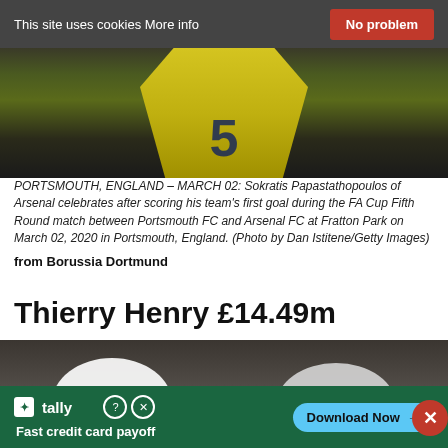This site uses cookies More info   No problem
[Figure (photo): Soccer player wearing yellow jersey with number 5, celebrating after scoring a goal at Fratton Park]
PORTSMOUTH, ENGLAND – MARCH 02: Sokratis Papastathopoulos of Arsenal celebrates after scoring his team's first goal during the FA Cup Fifth Round match between Portsmouth FC and Arsenal FC at Fratton Park on March 02, 2020 in Portsmouth, England. (Photo by Dan Istitene/Getty Images)
from Borussia Dortmund
Thierry Henry £14.49m
[Figure (photo): Two soccer players seen from behind in a stadium crowd, player on left wearing white jersey with KING visible, player on right with shaved head; red banner overlaid at bottom, close button visible on right]
[Figure (screenshot): Advertisement banner: Tally app - Fast credit card payoff - Download Now button]